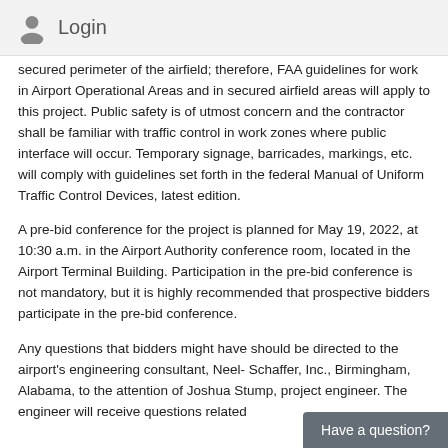Login
secured perimeter of the airfield; therefore, FAA guidelines for work in Airport Operational Areas and in secured airfield areas will apply to this project. Public safety is of utmost concern and the contractor shall be familiar with traffic control in work zones where public interface will occur. Temporary signage, barricades, markings, etc. will comply with guidelines set forth in the federal Manual of Uniform Traffic Control Devices, latest edition.
A pre-bid conference for the project is planned for May 19, 2022, at 10:30 a.m. in the Airport Authority conference room, located in the Airport Terminal Building. Participation in the pre-bid conference is not mandatory, but it is highly recommended that prospective bidders participate in the pre-bid conference.
Any questions that bidders might have should be directed to the airport's engineering consultant, Neel- Schaffer, Inc., Birmingham, Alabama, to the attention of Joshua Stump, project engineer. The engineer will receive questions related